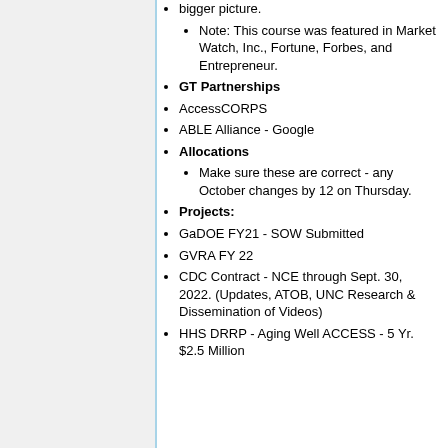bigger picture.
Note: This course was featured in Market Watch, Inc., Fortune, Forbes, and Entrepreneur.
GT Partnerships
AccessCORPS
ABLE Alliance - Google
Allocations
Make sure these are correct - any October changes by 12 on Thursday.
Projects:
GaDOE FY21 - SOW Submitted
GVRA FY 22
CDC Contract - NCE through Sept. 30, 2022. (Updates, ATOB, UNC Research & Dissemination of Videos)
HHS DRRP - Aging Well ACCESS - 5 Yr. $2.5 Million